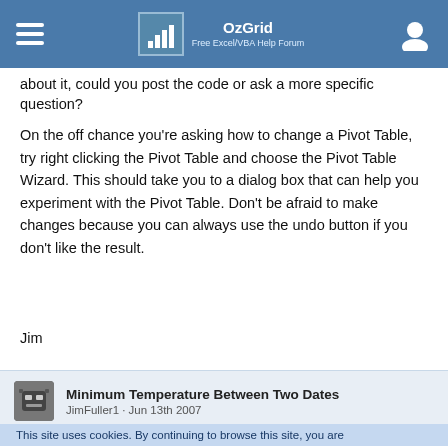OzGrid — Free Excel/VBA Help Forum
about it, could you post the code or ask a more specific question?
On the off chance you're asking how to change a Pivot Table, try right clicking the Pivot Table and choose the Pivot Table Wizard. This should take you to a dialog box that can help you experiment with the Pivot Table. Don't be afraid to make changes because you can always use the undo button if you don't like the result.
Jim
Minimum Temperature Between Two Dates
JimFuller1 · Jun 13th 2007
This site uses cookies. By continuing to browse this site, you are